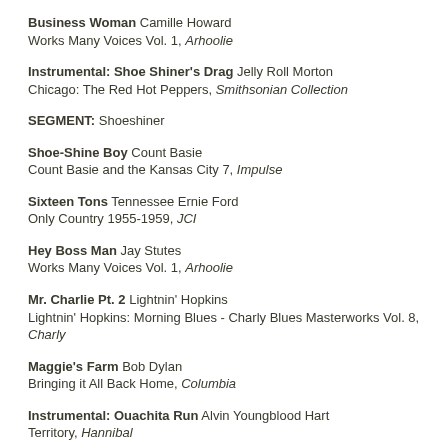Business Woman Camille Howard
Works Many Voices Vol. 1, Arhoolie
Instrumental: Shoe Shiner's Drag Jelly Roll Morton
Chicago: The Red Hot Peppers, Smithsonian Collection
SEGMENT: Shoeshiner
Shoe-Shine Boy Count Basie
Count Basie and the Kansas City 7, Impulse
Sixteen Tons Tennessee Ernie Ford
Only Country 1955-1959, JCI
Hey Boss Man Jay Stutes
Works Many Voices Vol. 1, Arhoolie
Mr. Charlie Pt. 2 Lightnin' Hopkins
Lightnin' Hopkins: Morning Blues - Charly Blues Masterworks Vol. 8, Charly
Maggie's Farm Bob Dylan
Bringing it All Back Home, Columbia
Instrumental: Ouachita Run Alvin Youngblood Hart
Territory, Hannibal